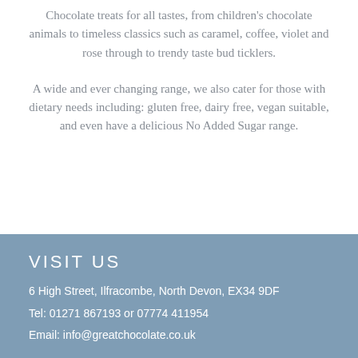Chocolate treats for all tastes, from children's chocolate animals to timeless classics such as caramel, coffee, violet and rose through to trendy taste bud ticklers.
A wide and ever changing range, we also cater for those with dietary needs including: gluten free, dairy free, vegan suitable, and even have a delicious No Added Sugar range.
VISIT US
6 High Street, Ilfracombe, North Devon, EX34 9DF
Tel: 01271 867193 or 07774 411954
Email: info@greatchocolate.co.uk